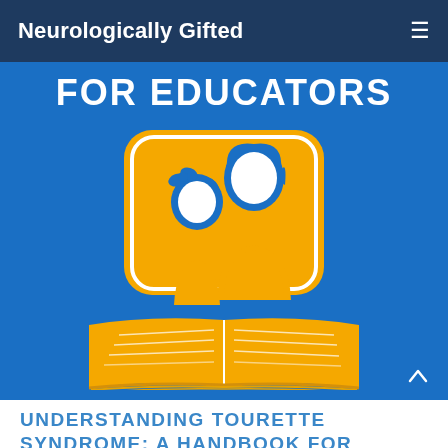Neurologically Gifted
FOR EDUCATORS
[Figure (illustration): Illustration of an adult and child reading an open book together, rendered in blue and golden yellow colors. The figures are silhouette-style with a rounded square yellow background behind them, and an open book with yellow pages in the foreground.]
UNDERSTANDING TOURETTE SYNDROME: A HANDBOOK FOR